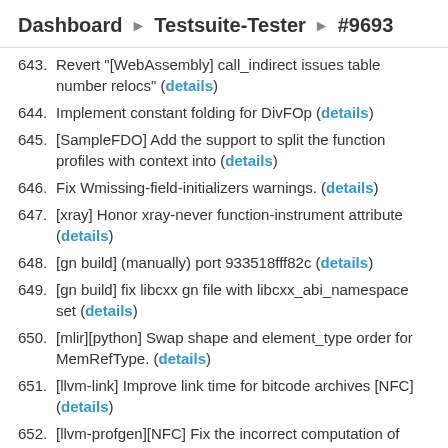Dashboard ▸ Testsuite-Tester ▸ #9693
643. Revert "[WebAssembly] call_indirect issues table number relocs" (details)
644. Implement constant folding for DivFOp (details)
645. [SampleFDO] Add the support to split the function profiles with context into (details)
646. Fix Wmissing-field-initializers warnings. (details)
647. [xray] Honor xray-never function-instrument attribute (details)
648. [gn build] (manually) port 933518fff82c (details)
649. [gn build] fix libcxx gn file with libcxx_abi_namespace set (details)
650. [mlir][python] Swap shape and element_type order for MemRefType. (details)
651. [llvm-link] Improve link time for bitcode archives [NFC] (details)
652. [llvm-profgen][NFC] Fix the incorrect computation of callsite sample count (details)
653. Allow nonnull/align attribute to accept poison (details)
654. [RISCV] refactor VPatBinary (NFC) (details)
655. [SimplifyCFG] Reapply update_test_checks.py (NFC)